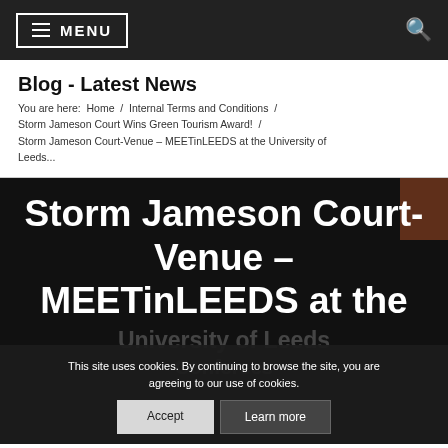MENU [navigation bar with hamburger icon and search icon]
Blog - Latest News
You are here:  Home  /  Internal Terms and Conditions  /  Storm Jameson Court Wins Green Tourism Award!  /  Storm Jameson Court-Venue – MEETinLEEDS at the University of Leeds...
Storm Jameson Court-Venue – MEETinLEEDS at the University of Leeds – Conferees –
This site uses cookies. By continuing to browse the site, you are agreeing to our use of cookies.